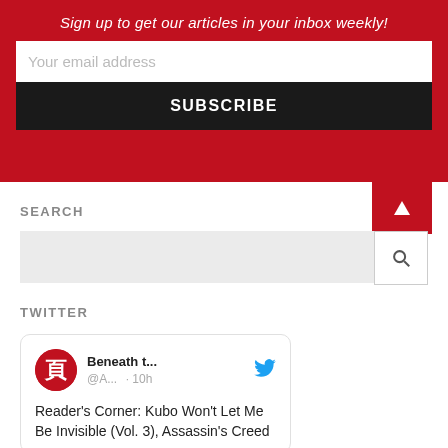Sign up to get our articles in your inbox weekly!
Your email address
SUBSCRIBE
SEARCH
TWITTER
Beneath t... @A... · 10h
Reader's Corner: Kubo Won't Let Me Be Invisible (Vol. 3), Assassin's Creed